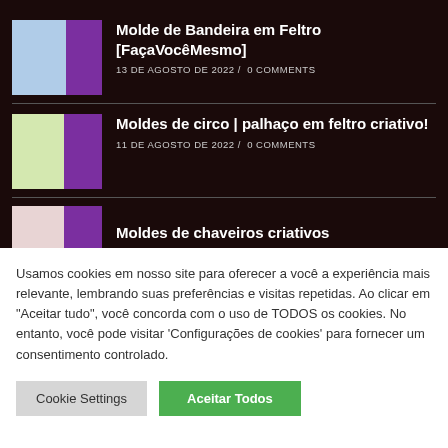Molde de Bandeira em Feltro [FaçaVocêMesmo]
13 DE AGOSTO DE 2022 / 0 COMMENTS
Moldes de circo | palhaço em feltro criativo!
11 DE AGOSTO DE 2022 / 0 COMMENTS
Moldes de chaveiros criativos
Usamos cookies em nosso site para oferecer a você a experiência mais relevante, lembrando suas preferências e visitas repetidas. Ao clicar em "Aceitar tudo", você concorda com o uso de TODOS os cookies. No entanto, você pode visitar 'Configurações de cookies' para fornecer um consentimento controlado.
Cookie Settings | Aceitar Todos